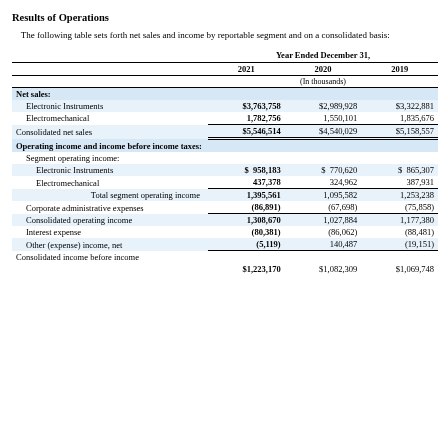Results of Operations
The following table sets forth net sales and income by reportable segment and on a consolidated basis:
|  | 2021 | 2020 | 2019 |
| --- | --- | --- | --- |
| Net sales: |  |  |  |
| Electronic Instruments | $3,763,758 | $2,989,928 | $3,322,881 |
| Electromechanical | 1,782,756 | 1,550,101 | 1,835,676 |
| Consolidated net sales | $5,546,514 | $4,540,029 | $5,158,557 |
| Operating income and income before income taxes: |  |  |  |
| Segment operating income: |  |  |  |
| Electronic Instruments | $ 958,183 | $ 770,620 | $ 865,307 |
| Electromechanical | 437,378 | 324,962 | 387,931 |
| Total segment operating income | 1,395,561 | 1,095,582 | 1,253,238 |
| Corporate administrative expenses | (86,891) | (67,698) | (75,858) |
| Consolidated operating income | 1,308,670 | 1,027,884 | 1,177,380 |
| Interest expense | (80,381) | (86,062) | (88,481) |
| Other (expense) income, net | (5,119) | 140,487 | (19,151) |
| Consolidated income before income taxes | $1,223,170 | $1,082,309 | $1,069,748 |